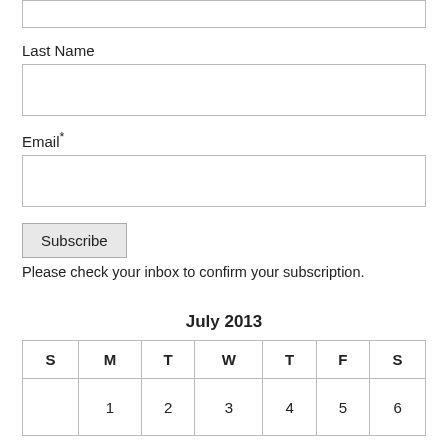Last Name
Email*
Subscribe
Please check your inbox to confirm your subscription.
| S | M | T | W | T | F | S |
| --- | --- | --- | --- | --- | --- | --- |
|  | 1 | 2 | 3 | 4 | 5 | 6 |